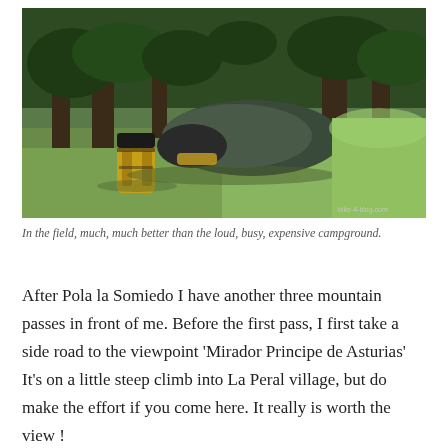[Figure (photo): A tent set up under trees in a green grassy field. A yellow and black backpack is visible to the left of the tent. The scene is outdoors in a lush, wooded area. A small watermark reads 'bike-and-blog.com' in the bottom right corner.]
In the field, much, much better than the loud, busy, expensive campground.
After Pola la Somiedo I have another three mountain passes in front of me. Before the first pass, I first take a side road to the viewpoint 'Mirador Principe de Asturias' It's on a little steep climb into La Peral village, but do make the effort if you come here. It really is worth the view !